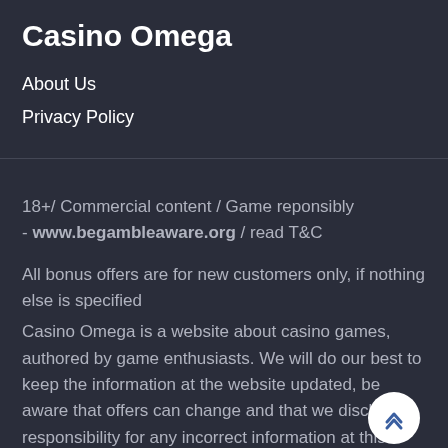Casino Omega
About Us
Privacy Policy
18+/ Commercial content / Game reponsibly - www.begambleaware.org / read T&C
All bonus offers are for new customers only, if nothing else is specified
Casino Omega is a website about casino games, authored by game enthusiasts. We will do our best to keep the information at the website updated, be aware that offers can change and that we disclaim responsibility for any incorrect information at this website.